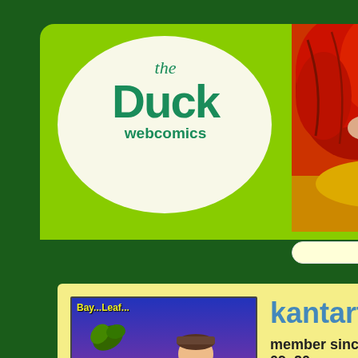[Figure (logo): The Duck Webcomics logo — green teal text on a white oval background reading 'The Duck webcomics']
[Figure (illustration): Comic strip artwork showing a red-haired manga character on the right and a blue/grey character, colorful]
kantartic
member since September 09, 20
[Figure (illustration): Pixel-art style avatar showing text 'Bay...Leaf...' at top, Pokemon-style characters in the middle, and 'Blaze is back!!' at the bottom]
ABOUT
Name: Kantartic
Hobby: Drawing, Playing Soccer & many other sports. To say in short I'm

Biodata -
Age: 17
Height: 5 feet 7 inches
Weight: 50 kg